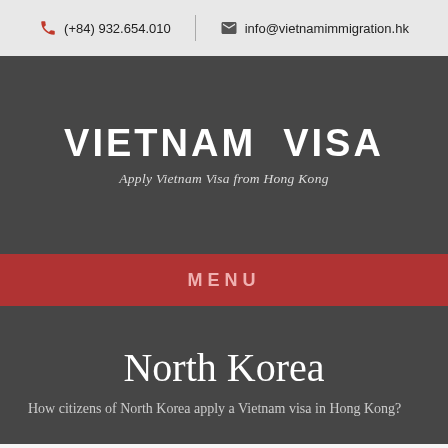(+84) 932.654.010 | info@vietnamimmigration.hk
VIETNAM VISA
Apply Vietnam Visa from Hong Kong
MENU
North Korea
How citizens of North Korea apply a Vietnam visa in Hong Kong?